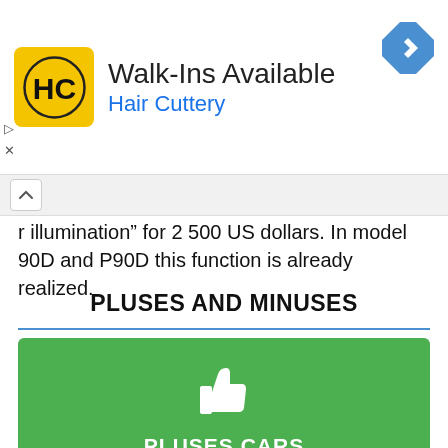[Figure (other): Advertisement banner for Hair Cuttery with logo, text 'Walk-Ins Available / Hair Cuttery', navigation icon, and ad controls]
r illumination" for 2 500 US dollars. In model 90D and P90D this function is already realized.
PLUSES AND MINUSES
[Figure (illustration): Green card with thumbs-up icon, title 'PLUSES CARS', and two bullet points about electric car advantages]
Absence of polluting exhaust gases, which are one of the most important elements of environmental pollution
Good reliability and durability of an electric motor with long operating life;